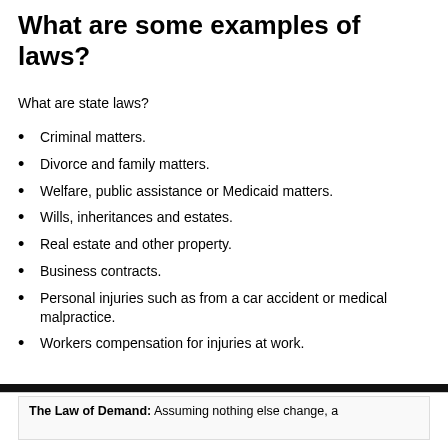What are some examples of laws?
What are state laws?
Criminal matters.
Divorce and family matters.
Welfare, public assistance or Medicaid matters.
Wills, inheritances and estates.
Real estate and other property.
Business contracts.
Personal injuries such as from a car accident or medical malpractice.
Workers compensation for injuries at work.
The Law of Demand: Assuming nothing else change, a